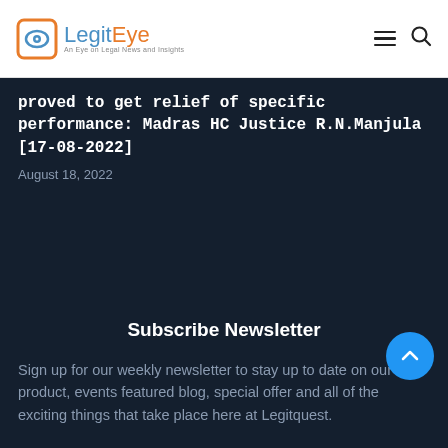LegitEye — An Eye on Legal News and Insights
proved to get relief of specific performance: Madras HC Justice R.N.Manjula [17-08-2022]
August 18, 2022
Subscribe Newsletter
Sign up for our weekly newsletter to stay up to date on our product, events featured blog, special offer and all of the exciting things that take place here at Legitquest.